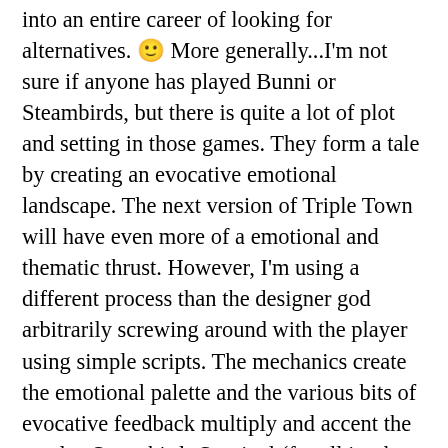into an entire career of looking for alternatives. 🙂 More generally...I'm not sure if anyone has played Bunni or Steambirds, but there is quite a lot of plot and setting in those games. They form a tale by creating an evocative emotional landscape. The next version of Triple Town will have even more of a emotional and thematic thrust. However, I'm using a different process than the designer god arbitrarily screwing around with the player using simple scripts. The mechanics create the emotional palette and the various bits of evocative feedback multiply and accent the results. Steambirds Survival (for all its short comings) is a depressing, heroic game. When was the last time you played such a thing?So...anyone who reads my essays as some simple 'games vs story' isn't reading deeply enough. There is a systematic understanding being built that enables someone to make emotional and meaningful games without falling back on Hollywood tropes. 🙂 In the end I don't ask you accept what I say. I ask that you think about it. Point out flaws in an intelligent fashion